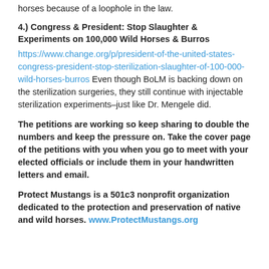horses because of a loophole in the law.
4.) Congress & President: Stop Slaughter & Experiments on 100,000 Wild Horses & Burros
https://www.change.org/p/president-of-the-united-states-congress-president-stop-sterilization-slaughter-of-100-000-wild-horses-burros Even though BoLM is backing down on the sterilization surgeries, they still continue with injectable sterilization experiments–just like Dr. Mengele did.
The petitions are working so keep sharing to double the numbers and keep the pressure on. Take the cover page of the petitions with you when you go to meet with your elected officials or include them in your handwritten letters and email.
Protect Mustangs is a 501c3 nonprofit organization dedicated to the protection and preservation of native and wild horses. www.ProtectMustangs.org